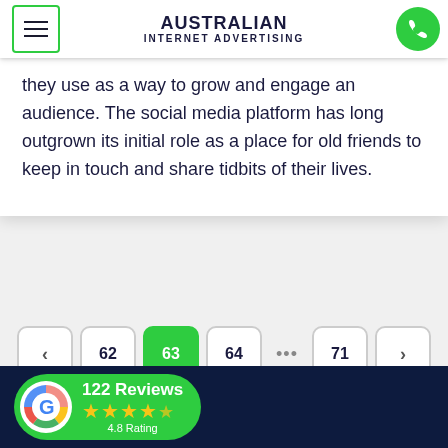[Figure (logo): Australian Internet Advertising logo with hamburger menu button on left and phone button on right]
they use as a way to grow and engage an audience. The social media platform has long outgrown its initial role as a place for old friends to keep in touch and share tidbits of their lives.
[Figure (infographic): Pagination control showing previous arrow, page 62, page 63 (active/green), page 64, ellipsis, page 71, next arrow]
[Figure (infographic): Google Reviews badge showing 122 Reviews with 4.8 star rating on dark navy footer bar]